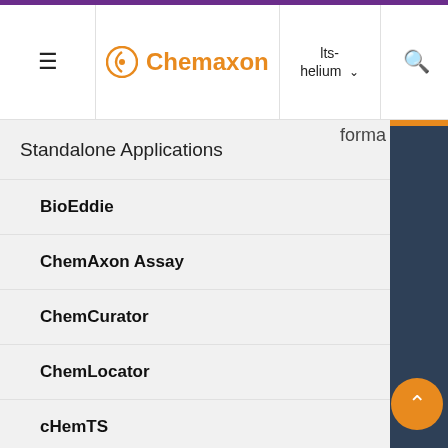Chemaxon | Its-helium
Standalone Applications
BioEddie
ChemAxon Assay
ChemCurator
ChemLocator
cHemTS
Compliance Checker
Compound Registration
Instant JChem